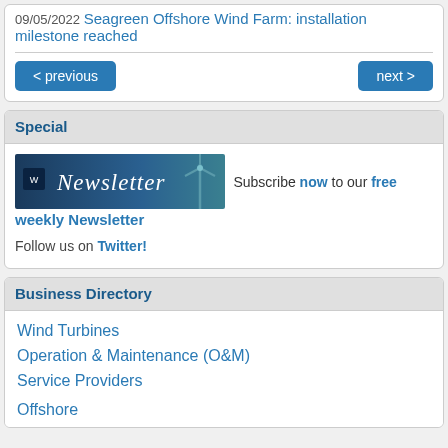09/05/2022 Seagreen Offshore Wind Farm: installation milestone reached
< previous | next >
Special
[Figure (illustration): Windmesse Newsletter banner image with wind turbine silhouette]
Subscribe now to our free weekly Newsletter
Follow us on Twitter!
Business Directory
Wind Turbines
Operation & Maintenance (O&M)
Service Providers
Offshore